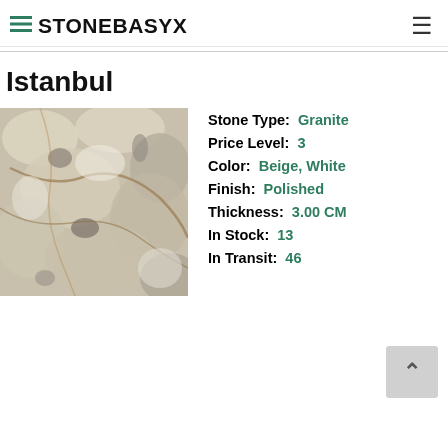STONEBASYX
Istanbul
[Figure (photo): Close-up photo of Istanbul granite stone slab showing beige and white tones with natural crystalline texture and some brown mineral veining]
Stone Type: Granite
Price Level: 3
Color: Beige, White
Finish: Polished
Thickness: 3.00 CM
In Stock: 13
In Transit: 46